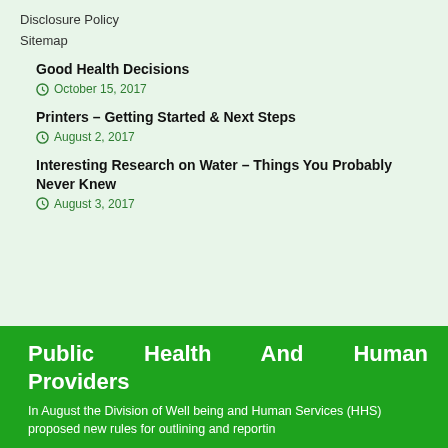Disclosure Policy
Sitemap
Good Health Decisions
October 15, 2017
Printers – Getting Started & Next Steps
August 2, 2017
Interesting Research on Water – Things You Probably Never Knew
August 3, 2017
Public Health And Human Providers
In August the Division of Well being and Human Services (HHS) proposed new rules for outlining and reportin